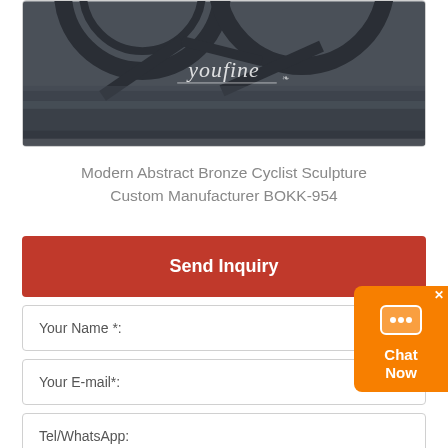[Figure (photo): Photo of a modern abstract bronze cyclist sculpture on a dark stone base, with youfine watermark text in white cursive script]
Modern Abstract Bronze Cyclist Sculpture Custom Manufacturer BOKK-954
Send Inquiry
Your Name *:
Your E-mail*:
Tel/WhatsApp:
Messages